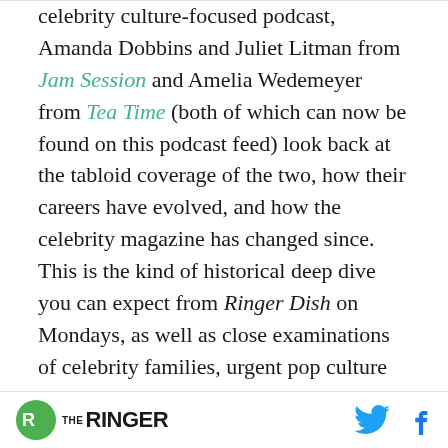celebrity culture-focused podcast, Amanda Dobbins and Juliet Litman from Jam Session and Amelia Wedemeyer from Tea Time (both of which can now be found on this podcast feed) look back at the tabloid coverage of the two, how their careers have evolved, and how the celebrity magazine has changed since. This is the kind of historical deep dive you can expect from Ringer Dish on Mondays, as well as close examinations of celebrity families, urgent pop culture developments, and much more.
Subscribe to the Ringer Dish feed on Apple
THE RINGER